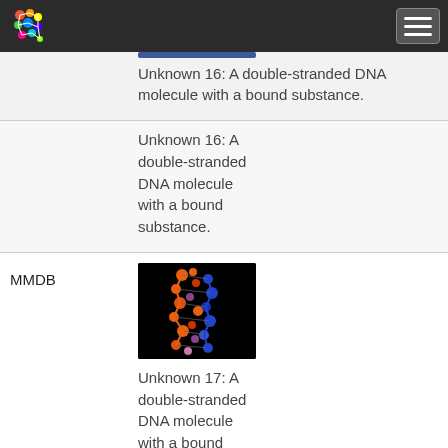NCBI navigation bar with logo and hamburger menu
[Figure (photo): A double-stranded DNA molecule with a bound substance, shown as a colorful molecular structure visualization (partially visible, cut off at top)]
Unknown 16:  A double-stranded DNA molecule with a bound substance.
MMDB
[Figure (photo): A double-stranded DNA molecule with a bound substance, shown as a 3D molecular ball-and-stick model on black background with orange, blue, and purple atoms]
Unknown 17:  A double-stranded DNA molecule with a bound substance.